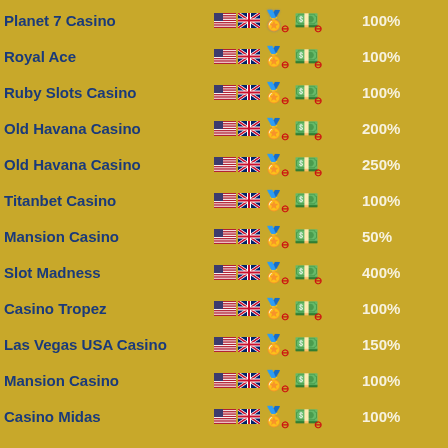Planet 7 Casino — 🇺🇸 🇬🇧 ⭐ 💵 100%
Royal Ace — 🇺🇸 🇬🇧 ⭐ 💵 100%
Ruby Slots Casino — 🇺🇸 🇬🇧 ⭐ 💵 100%
Old Havana Casino — 🇺🇸 🇬🇧 ⭐ 💵 200%
Old Havana Casino — 🇺🇸 🇬🇧 ⭐ 💵 250%
Titanbet Casino — 🇺🇸 🇬🇧 ⭐ 💵 100%
Mansion Casino — 🇺🇸 🇬🇧 ⭐ 💵 50%
Slot Madness — 🇺🇸 🇬🇧 ⭐ 💵 400%
Casino Tropez — 🇺🇸 🇬🇧 ⭐ 💵 100%
Las Vegas USA Casino — 🇺🇸 🇬🇧 ⭐ 💵 150%
Mansion Casino — 🇺🇸 🇬🇧 ⭐ 💵 100%
Casino Midas — 🇺🇸 🇬🇧 ⭐ 💵 100%